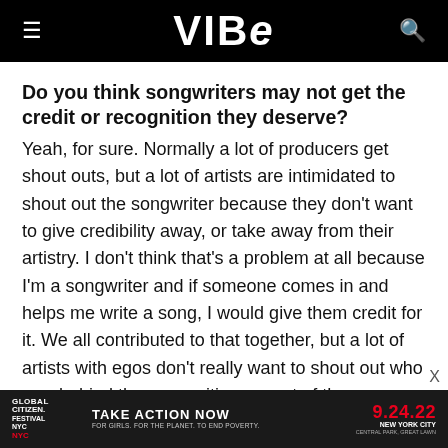VIBE
Do you think songwriters may not get the credit or recognition they deserve?
Yeah, for sure. Normally a lot of producers get shout outs, but a lot of artists are intimidated to shout out the songwriter because they don't want to give credibility away, or take away from their artistry. I don't think that's a problem at all because I'm a songwriter and if someone comes in and helps me write a song, I would give them credit for it. We all contributed to that together, but a lot of artists with egos don't really want to shout out who was behind the songwriting aspect of the song because they
[Figure (infographic): Global Citizen Festival NYC advertisement banner. Text: GLOBAL CITIZEN FESTIVAL NYC | TAKE ACTION NOW | FOR GIRLS. FOR THE PLANET. TO END POVERTY. | 9.24.22 | NEW YORK CITY CENTRAL PARK, GREAT LAWN]